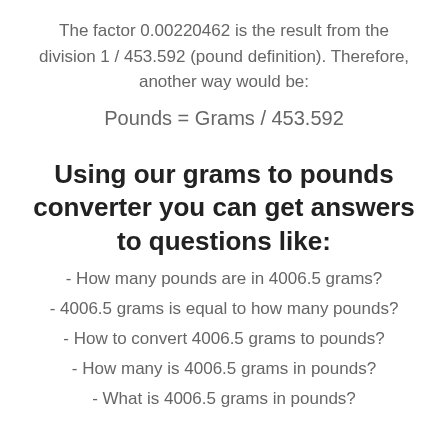The factor 0.00220462 is the result from the division 1 / 453.592 (pound definition). Therefore, another way would be:
Using our grams to pounds converter you can get answers to questions like:
- How many pounds are in 4006.5 grams?
- 4006.5 grams is equal to how many pounds?
- How to convert 4006.5 grams to pounds?
- How many is 4006.5 grams in pounds?
- What is 4006.5 grams in pounds?